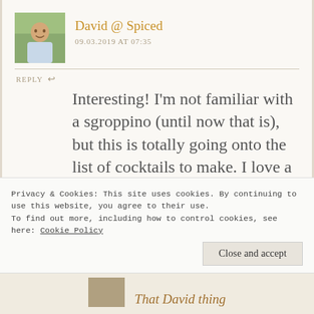[Figure (photo): Profile photo of a smiling man in a blue checked shirt outdoors]
David @ Spiced
09.03.2019 AT 07:35
REPLY
Interesting! I'm not familiar with a sgroppino (until now that is), but this is totally going onto the list of cocktails to make. I love a good champagne (or prosecco) cocktail, so this one is super interesting!
Privacy & Cookies: This site uses cookies. By continuing to use this website, you agree to their use.
To find out more, including how to control cookies, see here: Cookie Policy
Close and accept